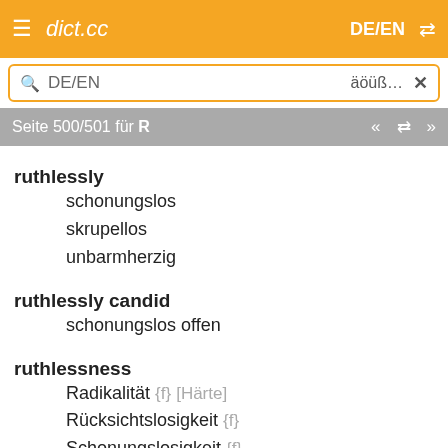dict.cc  DE/EN
DE/EN  äöüß...  ×
Seite 500/501 für R  «  ⇄  »
ruthlessly
  schonungslos
  skrupellos
  unbarmherzig
ruthlessly candid
  schonungslos offen
ruthlessness
  Radikalität {f} [Härte]
  Rücksichtslosigkeit {f}
  Schonungslosigkeit {f}
  Unbarmherzigkeit {f}